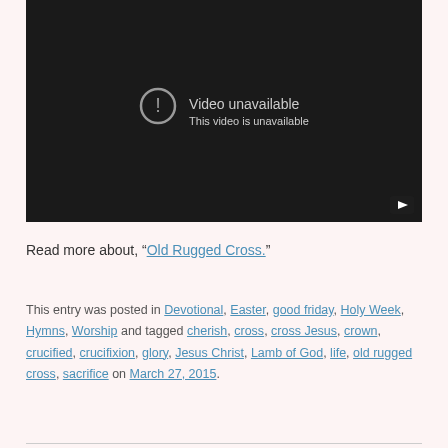[Figure (screenshot): Video player showing 'Video unavailable. This video is unavailable.' message on a dark/black background with a YouTube play button in the bottom right corner.]
Read more about, “Old Rugged Cross.”
This entry was posted in Devotional, Easter, good friday, Holy Week, Hymns, Worship and tagged cherish, cross, cross Jesus, crown, crucified, crucifixion, glory, Jesus Christ, Lamb of God, life, old rugged cross, sacrifice on March 27, 2015.